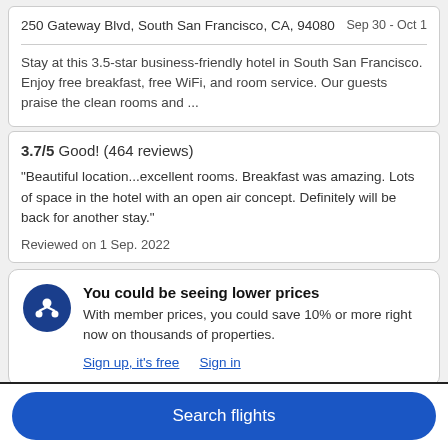250 Gateway Blvd, South San Francisco, CA, 94080
Sep 30 - Oct 1
Stay at this 3.5-star business-friendly hotel in South San Francisco. Enjoy free breakfast, free WiFi, and room service. Our guests praise the clean rooms and ...
3.7/5 Good! (464 reviews)
"Beautiful location...excellent rooms. Breakfast was amazing. Lots of space in the hotel with an open air concept. Definitely will be back for another stay."
Reviewed on 1 Sep. 2022
You could be seeing lower prices
With member prices, you could save 10% or more right now on thousands of properties.
Sign up, it's free   Sign in
DoubleTree Hilton San Francisco Airport North...
Search flights